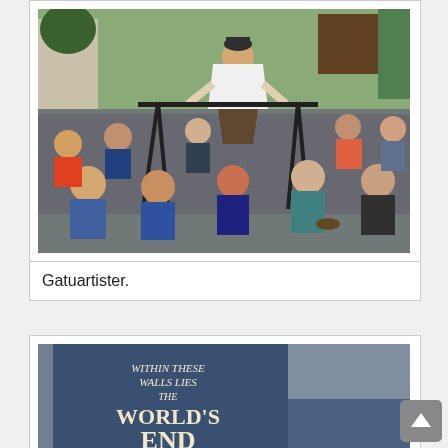[Figure (photo): A street performer balancing on a chair with hands on a rack, with a crowd of spectators watching in an urban setting.]
Gatuartister.
[Figure (photo): A sign reading 'WITHIN THESE WALLS LIES THE WORLD'S END' on a building wall.]